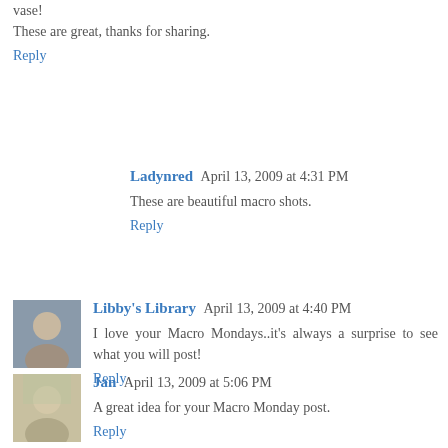vase!
These are great, thanks for sharing.
Reply
Ladynred April 13, 2009 at 4:31 PM
These are beautiful macro shots.
Reply
[Figure (photo): Avatar photo of Libby's Library commenter]
Libby's Library April 13, 2009 at 4:40 PM
I love your Macro Mondays..it's always a surprise to see what you will post!
Reply
[Figure (photo): Avatar photo of Jan commenter]
Jan April 13, 2009 at 5:06 PM
A great idea for your Macro Monday post.
Reply